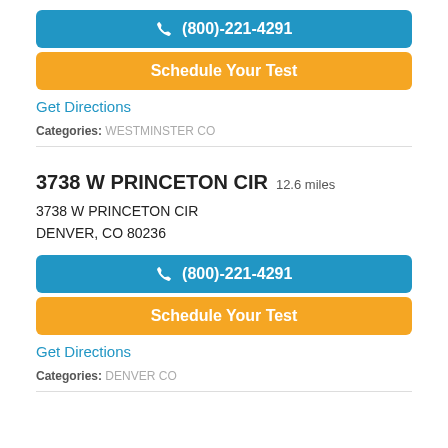(800)-221-4291
Schedule Your Test
Get Directions
Categories: WESTMINSTER CO
3738 W PRINCETON CIR 12.6 miles
3738 W PRINCETON CIR
DENVER, CO 80236
(800)-221-4291
Schedule Your Test
Get Directions
Categories: DENVER CO